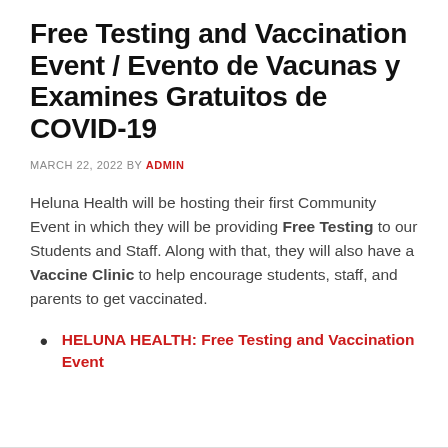Free Testing and Vaccination Event / Evento de Vacunas y Examines Gratuitos de COVID-19
MARCH 22, 2022 BY ADMIN
Heluna Health will be hosting their first Community Event in which they will be providing Free Testing to our Students and Staff. Along with that, they will also have a Vaccine Clinic to help encourage students, staff, and parents to get vaccinated.
HELUNA HEALTH: Free Testing and Vaccination Event